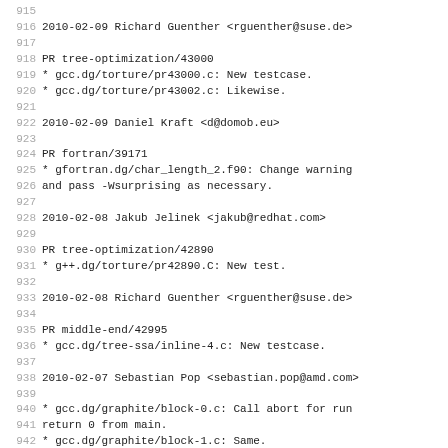915
916 2010-02-09  Richard Guenther  <rguenther@suse.de>
917
918         PR tree-optimization/43000
919         * gcc.dg/torture/pr43000.c: New testcase.
920         * gcc.dg/torture/pr43002.c: Likewise.
921
922 2010-02-09  Daniel Kraft  <d@domob.eu>
923
924         PR fortran/39171
925         * gfortran.dg/char_length_2.f90: Change warning
926         and pass -Wsurprising as necessary.
927
928 2010-02-08  Jakub Jelinek  <jakub@redhat.com>
929
930         PR tree-optimization/42890
931         * g++.dg/torture/pr42890.C: New test.
932
933 2010-02-08  Richard Guenther  <rguenther@suse.de>
934
935         PR middle-end/42995
936         * gcc.dg/tree-ssa/inline-4.c: New testcase.
937
938 2010-02-07  Sebastian Pop  <sebastian.pop@amd.com>
939
940         * gcc.dg/graphite/block-0.c: Call abort for run
941         return 0 from main.
942         * gcc.dg/graphite/block-1.c: Same.
943         * gcc.dg/graphite/block-3.c: Same.
944         * gcc.dg/graphite/block-4.c: Same.
945         * gcc.dg/graphite/block-5.c: Same.
946         * gcc.dg/graphite/block-6.c: Same.